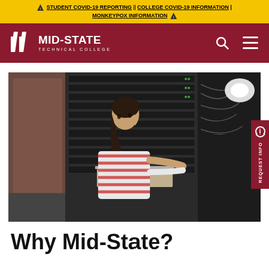⚠ STUDENT COVID-19 REPORTING | COLLEGE COVID-19 INFORMATION | MONKEYPOX INFORMATION ⚠
[Figure (logo): Mid-State Technical College logo with navigation bar on dark red background, showing search and menu icons]
[Figure (photo): A woman in a striped shirt working on a laptop mounted in a server rack room with multiple server towers and cable infrastructure]
Why Mid-State?